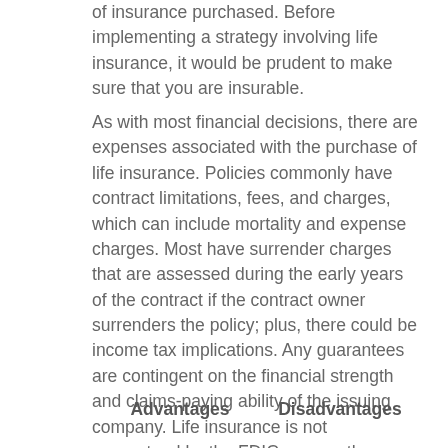of insurance purchased. Before implementing a strategy involving life insurance, it would be prudent to make sure that you are insurable.
As with most financial decisions, there are expenses associated with the purchase of life insurance. Policies commonly have contract limitations, fees, and charges, which can include mortality and expense charges. Most have surrender charges that are assessed during the early years of the contract if the contract owner surrenders the policy; plus, there could be income tax implications. Any guarantees are contingent on the financial strength and claims-paying ability of the issuing company. Life insurance is not guaranteed by the FDIC or any other government agency; they are not deposits of, nor are they guaranteed or endorsed by, any bank or savings association.
|  | Advantages | Disadvantages |
| --- | --- | --- |